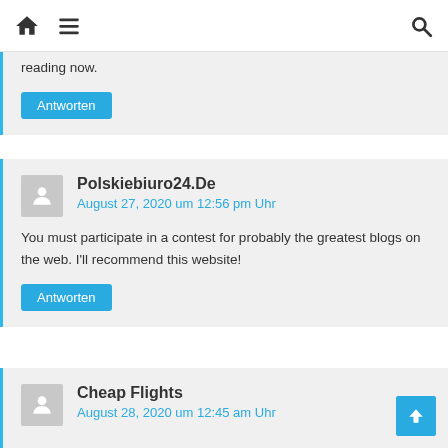Navigation bar with home icon, menu icon, and search icon
reading now.
Antworten
Polskiebiuro24.De
August 27, 2020 um 12:56 pm Uhr
You must participate in a contest for probably the greatest blogs on the web. I'll recommend this website!
Antworten
Cheap Flights
August 28, 2020 um 12:45 am Uhr